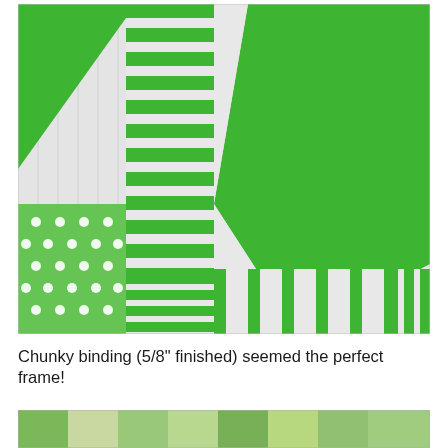[Figure (photo): Close-up photograph of a green and white quilt with geometric patchwork design, showing chunky binding. The quilt features bright green and white stripes, solid green triangles/diamonds, green polka dot fabric, and vertical stripe sections.]
Chunky binding (5/8" finished) seemed the perfect frame!
[Figure (photo): Partial view of another quilt or fabric arrangement, partially cropped at the bottom of the page.]